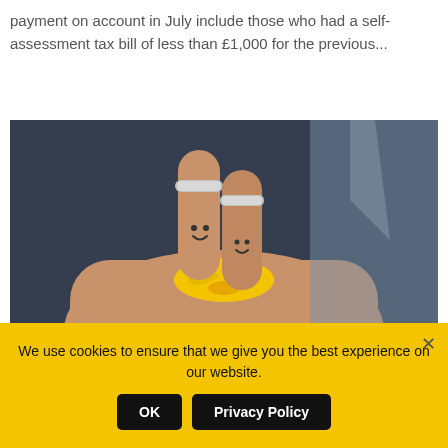payment on account in July include those who had a self-assessment tax bill of less than £1,000 for the previous...
[Figure (photo): Two fingers with smiley faces drawn on them, wearing small wedding rings, held above a yellow dandelion flower against a blurred background of a suit.]
We use cookies to ensure that we give you the best experience on our website.